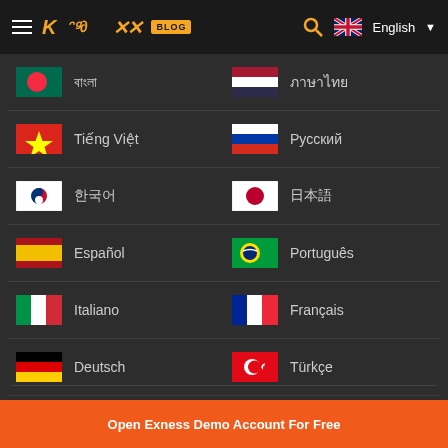Exness Blog - English
বাংলা
ภาษาไทย
Tiếng Việt
Русский
한국어
日本語
Español
Português
Italiano
Français
Deutsch
Türkçe
Open Exness Demo Account For Free